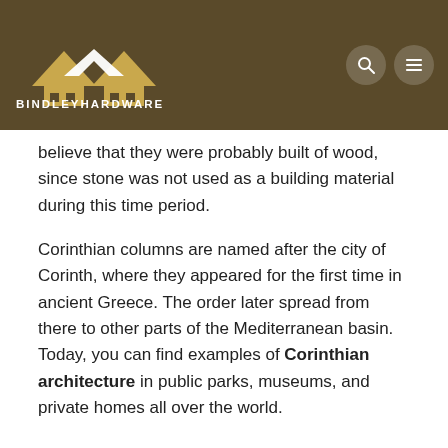BINDLEYHARDWARE
believe that they were probably built of wood, since stone was not used as a building material during this time period.
Corinthian columns are named after the city of Corinth, where they appeared for the first time in ancient Greece. The order later spread from there to other parts of the Mediterranean basin. Today, you can find examples of Corinthian architecture in public parks, museums, and private homes all over the world.